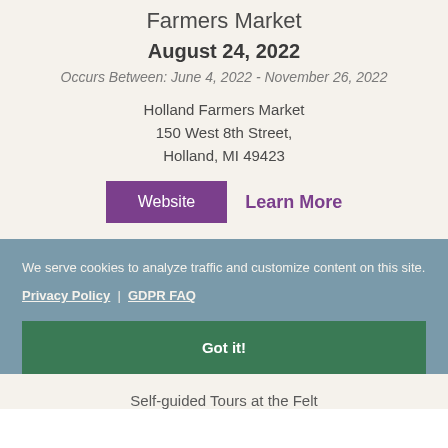Farmers Market
August 24, 2022
Occurs Between: June 4, 2022 - November 26, 2022
Holland Farmers Market
150 West 8th Street,
Holland, MI 49423
Website   Learn More
We serve cookies to analyze traffic and customize content on this site.
Privacy Policy | GDPR FAQ
Got it!
Self-guided Tours at the Felt